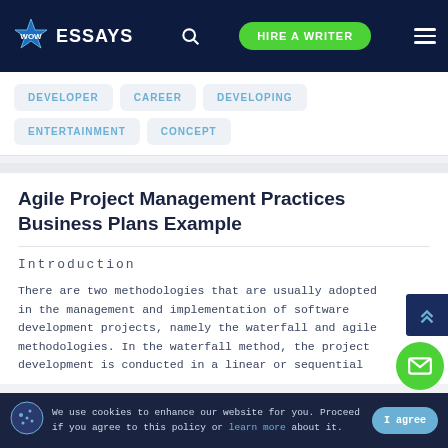[Figure (logo): WowEssays logo with star emblem and navigation bar on dark navy background]
DEVELOPER
CAREER
DEVELOPING
ENTERTAINMENT
CONCEPT
Agile Project Management Practices Business Plans Example
Introduction
There are two methodologies that are usually adopted in the management and implementation of software development projects, namely the waterfall and agile methodologies. In the waterfall method, the project development is conducted in a linear or sequential
We use cookies to enhance our website for you. Proceed if you agree to this policy or learn more about it.